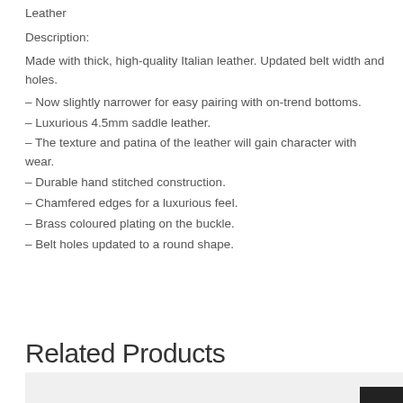Leather
Description:
Made with thick, high-quality Italian leather. Updated belt width and holes.
– Now slightly narrower for easy pairing with on-trend bottoms.
– Luxurious 4.5mm saddle leather.
– The texture and patina of the leather will gain character with wear.
– Durable hand stitched construction.
– Chamfered edges for a luxurious feel.
– Brass coloured plating on the buckle.
– Belt holes updated to a round shape.
Related Products